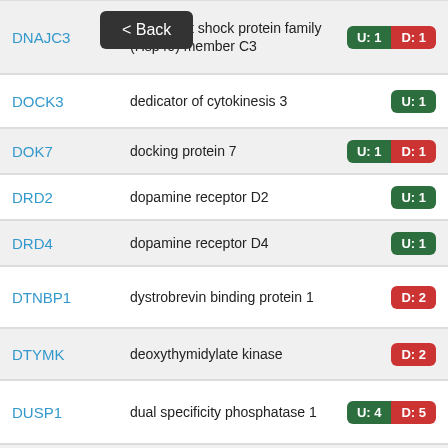| Gene | Description | Regulation |
| --- | --- | --- |
| DNAJC3 | DnaJ heat shock protein family (Hsp40) member C3 | U: 1 D: 1 |
| DOCK3 | dedicator of cytokinesis 3 | U: 1 |
| DOK7 | docking protein 7 | U: 1 D: 1 |
| DRD2 | dopamine receptor D2 | U: 1 |
| DRD4 | dopamine receptor D4 | U: 1 |
| DTNBP1 | dystrobrevin binding protein 1 | D: 2 |
| DTYMK | deoxythymidylate kinase | D: 2 |
| DUSP1 | dual specificity phosphatase 1 | U: 4 D: 5 |